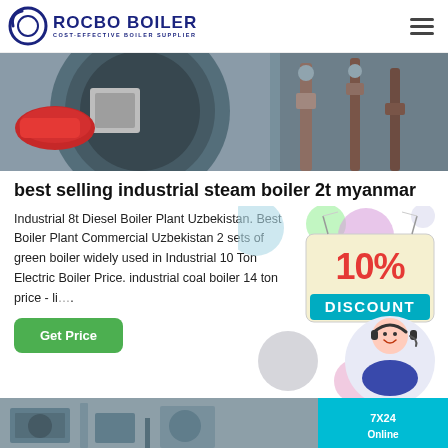ROCBO BOILER — COST-EFFECTIVE BOILER SUPPLIER
[Figure (photo): Industrial boiler equipment — large cylindrical boiler with red burner on the left and pipe fittings on the right, in an industrial facility.]
best selling industrial steam boiler 2t myanmar
Industrial 8t Diesel Boiler Plant Uzbekistan. Best Boiler Plant Commercial Uzbekistan 2 sets of green boiler widely used in Industrial 10 Ton Electric Boiler Price. industrial coal boiler 14 ton price - li...
[Figure (infographic): 10% DISCOUNT promotional badge with colorful decorative bubbles and a customer service representative photo (woman wearing headset).]
[Figure (photo): Bottom strip showing partial industrial image and a cyan '7X24 Online' badge.]